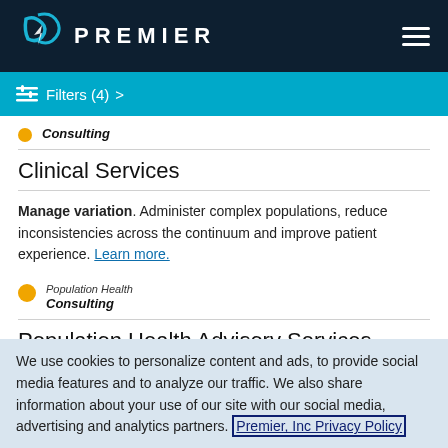PREMIER
Filters (4)
Consulting
Clinical Services
Manage variation. Administer complex populations, reduce inconsistencies across the continuum and improve patient experience. Learn more.
Population Health Consulting
Population Health Advisory Services
We use cookies to personalize content and ads, to provide social media features and to analyze our traffic. We also share information about your use of our site with our social media, advertising and analytics partners. Premier, Inc Privacy Policy